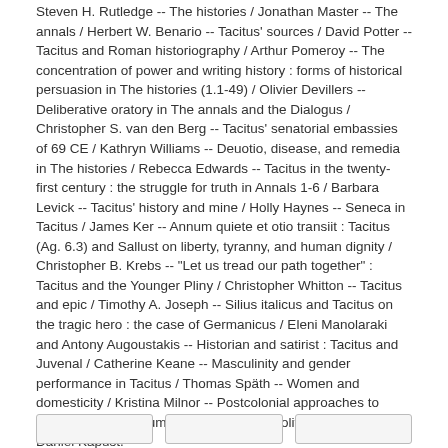Steven H. Rutledge -- The histories / Jonathan Master -- The annals / Herbert W. Benario -- Tacitus' sources / David Potter -- Tacitus and Roman historiography / Arthur Pomeroy -- The concentration of power and writing history : forms of historical persuasion in The histories (1.1-49) / Olivier Devillers -- Deliberative oratory in The annals and the Dialogus / Christopher S. van den Berg -- Tacitus' senatorial embassies of 69 CE / Kathryn Williams -- Deuotio, disease, and remedia in The histories / Rebecca Edwards -- Tacitus in the twenty-first century : the struggle for truth in Annals 1-6 / Barbara Levick -- Tacitus' history and mine / Holly Haynes -- Seneca in Tacitus / James Ker -- Annum quiete et otio transiit : Tacitus (Ag. 6.3) and Sallust on liberty, tyranny, and human dignity / Christopher B. Krebs -- "Let us tread our path together" : Tacitus and the Younger Pliny / Christopher Whitton -- Tacitus and epic / Timothy A. Joseph -- Silius italicus and Tacitus on the tragic hero : the case of Germanicus / Eleni Manolaraki and Antony Augoustakis -- Historian and satirist : Tacitus and Juvenal / Catherine Keane -- Masculinity and gender performance in Tacitus / Thomas Späth -- Women and domesticity / Kristina Milnor -- Postcolonial approaches to Tacitus / Nancy Shumate -- Tacitus and political thought / Daniel Kapust.
Tags from this library: No tags from this library for this title. Log in to add tags.